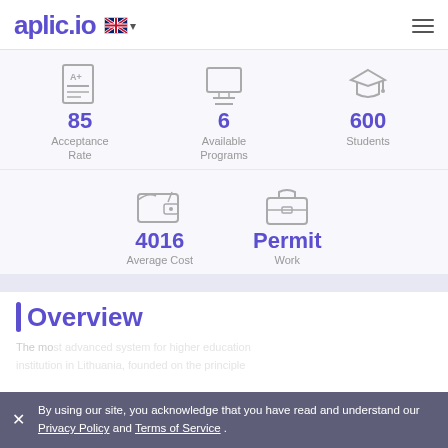aplic.io
[Figure (infographic): Three stat icons: grade paper (85 Acceptance Rate), monitor/computer (6 Available Programs), graduation cap (600 Students)]
[Figure (infographic): Two stat icons: wallet (4016 Average Cost), briefcase (Permit Work)]
Overview
The mo... re education institution in Lithuania, founded on the principle...
By using our site, you acknowledge that you have read and understand our Privacy Policy and Terms of Service.